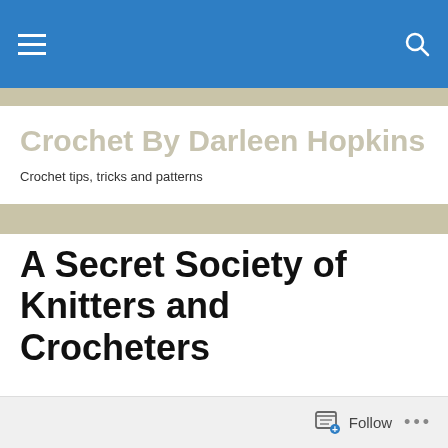Navigation bar with hamburger menu and search icon
Crochet By Darleen Hopkins
Crochet tips, tricks and patterns
A Secret Society of Knitters and Crocheters
Who knew a secret society of knitters and crocheters actually
Follow •••